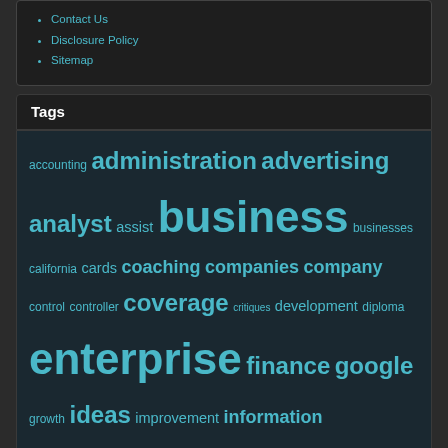Contact Us
Disclosure Policy
Sitemap
Tags
accounting administration advertising analyst assist business businesses california cards coaching companies company control controller coverage critiques development diploma enterprise finance google growth ideas improvement information insurance letter license management marketing methods online opportunities programs quotes reference reviews service small small business start systems training write writing
| M | T | W | T | F | S | S |
| --- | --- | --- | --- | --- | --- | --- |
|  |  |  | 1 | 2 | 3 | 4 |